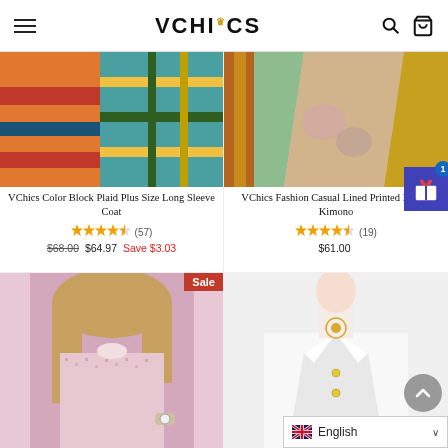VCHICS
[Figure (photo): VChics Color Block Plaid Plus Size Long Sleeve Coat product photo]
VChics Color Block Plaid Plus Size Long Sleeve Coat
★★★★½ (57)
$68.00  $64.97  Save $3.03
[Figure (photo): VChics Fashion Casual Lined Printed Duster Kimono product photo]
VChics Fashion Casual Lined Printed Duster Kimono
★★★★½ (19)
$61.00
[Figure (photo): Sale item - woman in pink tweed blazer jacket product photo]
[Figure (photo): Woman in white blazer product photo]